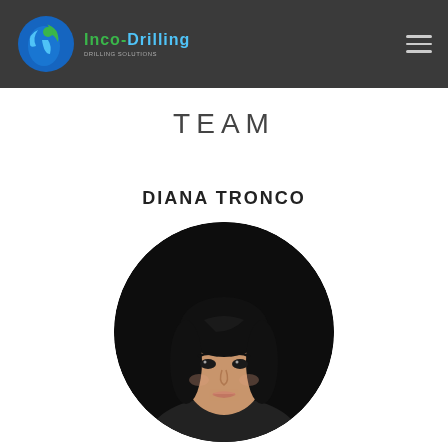[Figure (logo): Inco-Drilling company logo: circular blue and green icon with a stylized figure, followed by 'Inco-Drilling' text in green and blue on dark header bar]
TEAM
DIANA TRONCO
[Figure (photo): Circular headshot photo of Diana Tronco, a woman with dark hair, against a dark background]